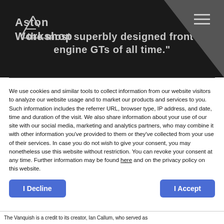[Figure (logo): Aston Workshop logo — stylized A and W with text 'Aston Workshop' in silver on dark background]
the most superbly designed front-engine GTs of all time."
We use cookies and similar tools to collect information from our website visitors to analyze our website usage and to market our products and services to you. Such information includes the referrer URL, browser type, IP address, and date, time and duration of the visit. We also share information about your use of our site with our social media, marketing and analytics partners, who may combine it with other information you've provided to them or they've collected from your use of their services. In case you do not wish to give your consent, you may nonetheless use this website without restriction. You can revoke your consent at any time. Further information may be found here and on the privacy policy on this website.
I Decline
I Accept
The Vanquish is a credit to its creator, Ian Callum, who served as